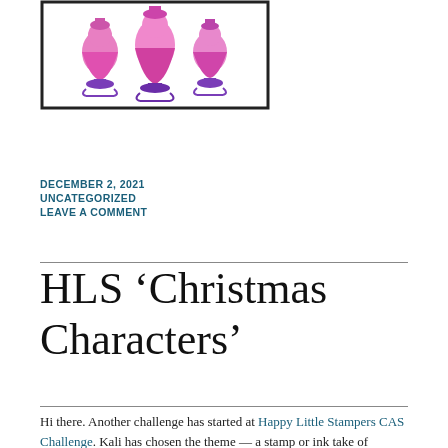[Figure (illustration): A whimsical illustration of Christmas characters in pink and purple tones, shown inside a rectangular border. The figures appear to be dressed-up cats or similar characters on pedestals.]
DECEMBER 2, 2021
UNCATEGORIZED
LEAVE A COMMENT
HLS ‘Christmas Characters’
Hi there. Another challenge has started at Happy Little Stampers CAS Challenge. Kali has chosen the theme — a stamp or ink take of ‘Christmas Characters’...